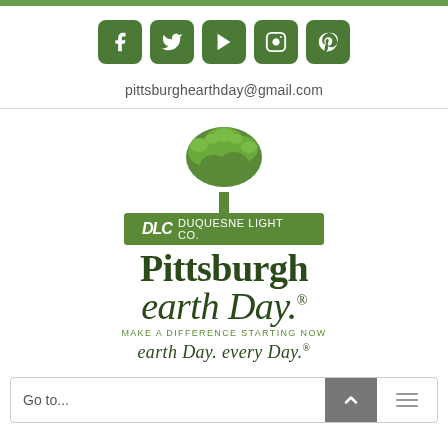[Figure (infographic): Row of five social media icons (Facebook, Twitter, YouTube, Instagram, Pinterest) as green rounded square buttons]
pittsburghearthday@gmail.com
[Figure (logo): Pittsburgh Earth Day logo with green tree, DLC Duquesne Light Co. banner, 'Pittsburgh Earth Day. Make a Difference Starting Now' and 'earth Day. every Day.' tagline]
Go to...